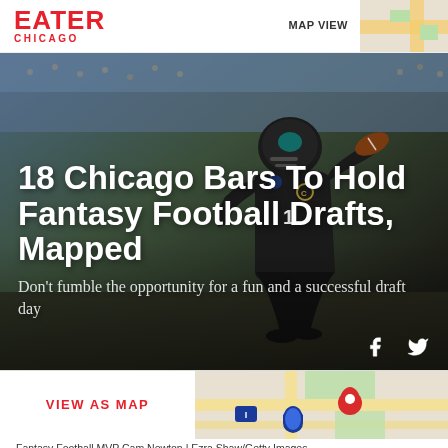EATER CHICAGO
[Figure (photo): Football player (Cam Newton) running in Panthers uniform, dark stadium background]
18 Chicago Bars To Hold Fantasy Football Drafts, Mapped
Don't fumble the opportunity for a fun and a successful draft day
[Figure (map): Map view thumbnail showing streets and a red location pin]
Fantasy Football MVP Cam Newton | Ezra Shaw/Getty Images
by Ashok Selvam | @Shokdiesel | Aug 10, 2016, 4:15pm CDT
Fantasy football has come a long way since a bunch of geeks combed newspaper box scores on Mondays to see if their kicker scored enough extra